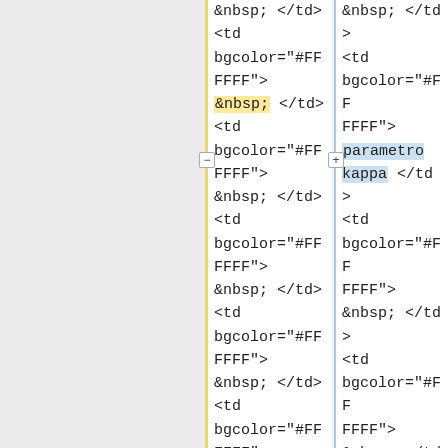&nbsp; </td>
<td
bgcolor="#FF
FFFF">
&nbsp; </td>
<td
bgcolor="#FF
FFFF">
&nbsp; </td>
<td
bgcolor="#FF
FFFF">
&nbsp; </td>
<td
bgcolor="#FF
FFFF">
&nbsp; </td>
<td
bgcolor="#FF
FFFF">
koeficient
&nbsp; </td>
<td
bgcolor="#FF
FFFF">
parametro
kappa </td>
<td
bgcolor="#FF
FFFF">
&nbsp; </td>
<td
bgcolor="#FF
FFFF">
&nbsp; </td>
<td
bgcolor="#FF
FFFF">
&nbsp; </td>
<td
bgcolor="#FF
FFFF">